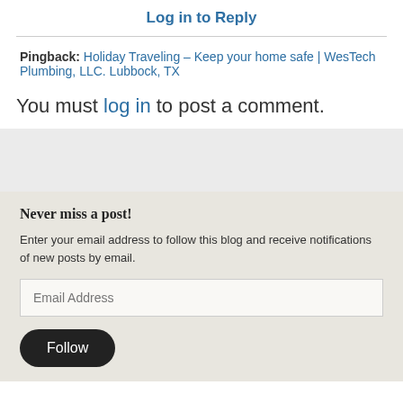Log in to Reply
Pingback: Holiday Traveling – Keep your home safe | WesTech Plumbing, LLC. Lubbock, TX
You must log in to post a comment.
[Figure (other): Grey empty advertisement or placeholder box]
Never miss a post!
Enter your email address to follow this blog and receive notifications of new posts by email.
Email Address (input field)
Follow (button)